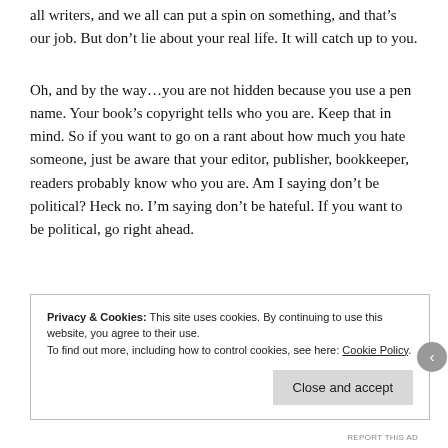all writers, and we all can put a spin on something, and that’s our job. But don’t lie about your real life. It will catch up to you.
Oh, and by the way…you are not hidden because you use a pen name. Your book’s copyright tells who you are. Keep that in mind. So if you want to go on a rant about how much you hate someone, just be aware that your editor, publisher, bookkeeper, readers probably know who you are. Am I saying don’t be political? Heck no. I’m saying don’t be hateful. If you want to be political, go right ahead.
Privacy & Cookies: This site uses cookies. By continuing to use this website, you agree to their use.
To find out more, including how to control cookies, see here: Cookie Policy
Close and accept